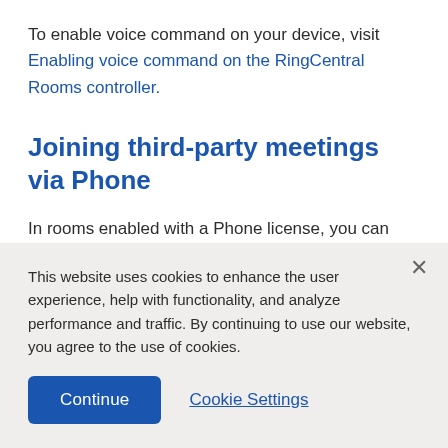To enable voice command on your device, visit Enabling voice command on the RingCentral Rooms controller.
Joining third-party meetings via Phone
In rooms enabled with a Phone license, you can now dial in to scheduled Teams, Zoom, Webex, or GoToMeeting meetings with just
This website uses cookies to enhance the user experience, help with functionality, and analyze performance and traffic. By continuing to use our website, you agree to the use of cookies.
Continue
Cookie Settings